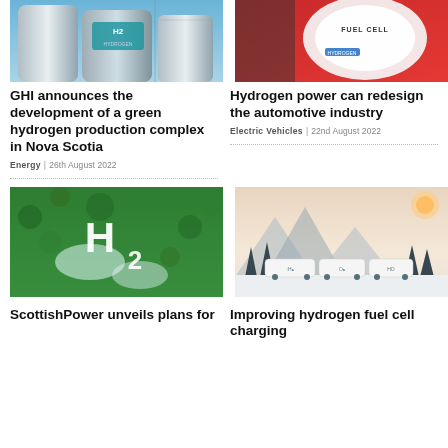[Figure (photo): Hydrogen storage tanks with H2 HYDROGEN label, blue sky background]
GHI announces the development of a green hydrogen production complex in Nova Scotia
Energy | 26th August 2022
[Figure (photo): Red fuel cell label on automotive component]
Hydrogen power can redesign the automotive industry
Electric Vehicles | 22nd August 2022
[Figure (photo): H2 symbol on green moss background]
ScottishPower unveils plans for
[Figure (photo): White hydrogen fuel cell trucks in snowy landscape with trees and mountains]
Improving hydrogen fuel cell charging